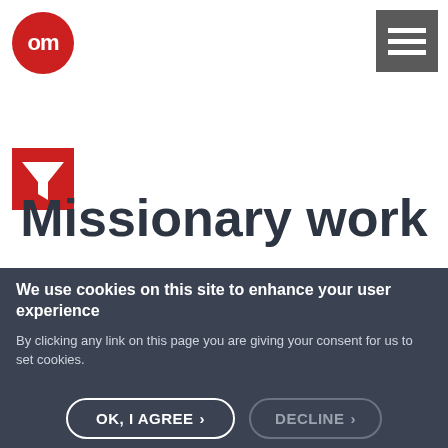[Figure (logo): Red circular logo with white stylized 'om' text inside]
[Figure (other): Dark grey hamburger/menu icon with three white horizontal lines]
[Figure (other): Red square filter/funnel icon]
Missionary work
We use cookies on this site to enhance your user experience
By clicking any link on this page you are giving your consent for us to set cookies.
More info ›
OK, I AGREE › DECLINE ›